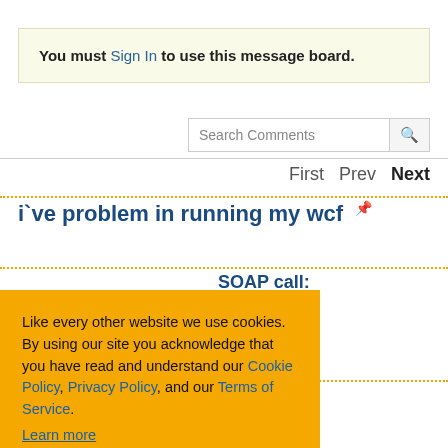You must Sign In to use this message board.
Search Comments
First  Prev  Next
i`ve problem in running my wcf
SOAP call:
mple goal.
[Figure (screenshot): Cookie consent overlay with orange background. Text: 'Like every other website we use cookies. By using our site you acknowledge that you have read and understand our Cookie Policy, Privacy Policy, and our Terms of Service. Learn more'. Buttons: 'Ask me later', 'Decline', 'Allow cookies'.]
M... n F...